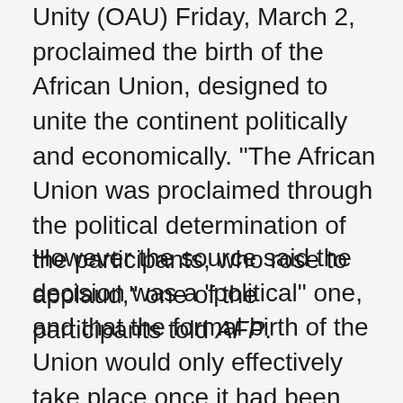Unity (OAU) Friday, March 2, proclaimed the birth of the African Union, designed to unite the continent politically and economically. "The African Union was proclaimed through the political determination of the participants, who rose to applaud," one of the participants told AFP.
However the source said the decision was a "political" one, and that the formal birth of the Union would only effectively take place once it had been officially ratified by at least 36 of the OAU's 53 member states, "which should be done soon". Earlier on Friday, OAU Secretary General Salim Ahmad Salim said